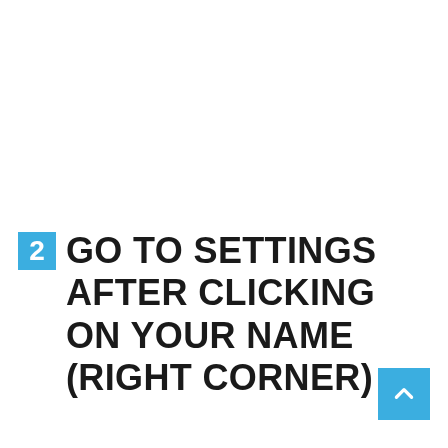2 GO TO SETTINGS AFTER CLICKING ON YOUR NAME (RIGHT CORNER)